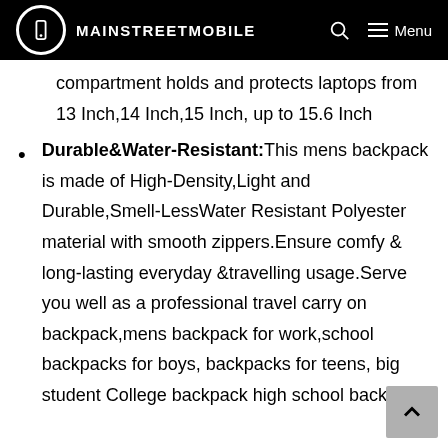MAINSTREETMOBILE
compartment holds and protects laptops from 13 Inch,14 Inch,15 Inch, up to 15.6 Inch
Durable&Water-Resistant:This mens backpack is made of High-Density,Light and Durable,Smell-Less⁠Water Resistant Polyester material with smooth zippers.Ensure comfy & long-lasting everyday &travelling usage.Serve you well as a professional travel carry on backpack,mens backpack for work,school backpacks for boys, backpacks for teens, big student College backpack high school backpack.